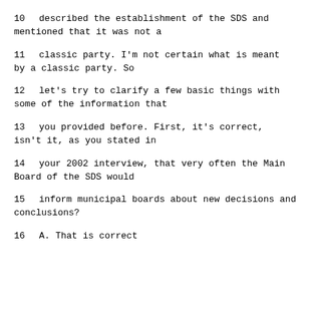10     described the establishment of the SDS and mentioned that it was not a
11     classic party.  I'm not certain what is meant by a classic party.  So
12     let's try to clarify a few basic things with some of the information that
13     you provided before.  First, it's correct, isn't it, as you stated in
14     your 2002 interview, that very often the Main Board of the SDS would
15     inform municipal boards about new decisions and conclusions?
16          A.   That is correct